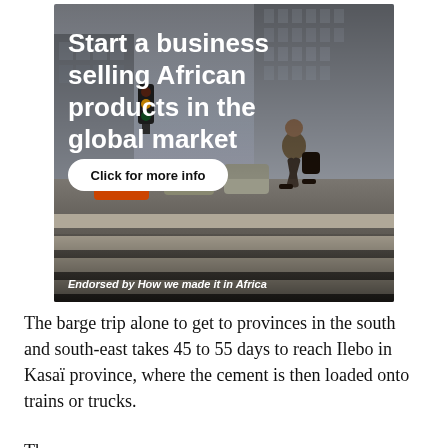[Figure (photo): Advertisement banner showing a businessman in a suit crossing a zebra crossing on a city street. Overlay text reads 'Start a business selling African products in the global market' with a 'Click for more info' button and 'Endorsed by How we made it in Africa' footer text.]
The barge trip alone to get to provinces in the south and south-east takes 45 to 55 days to reach Ilebo in Kasaï province, where the cement is then loaded onto trains or trucks.
The...